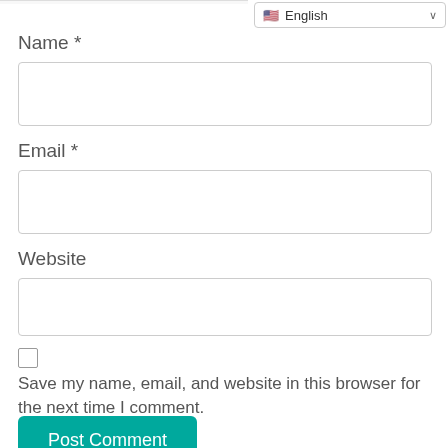[Figure (screenshot): Language selector dropdown showing English with US flag]
Name *
[Figure (other): Empty text input box for Name field]
Email *
[Figure (other): Empty text input box for Email field]
Website
[Figure (other): Empty text input box for Website field]
Save my name, email, and website in this browser for the next time I comment.
Post Comment